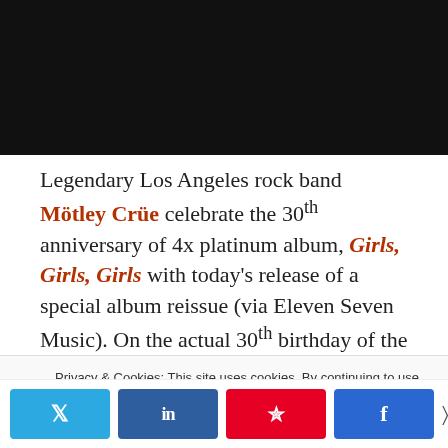[Figure (photo): Black rectangular image placeholder at top of page]
Legendary Los Angeles rock band Mötley Crüe celebrate the 30th anniversary of 4x platinum album, Girls, Girls, Girls with today's release of a special album reissue (via Eleven Seven Music). On the actual 30th birthday of the album, May 15, 2017, the band teamed up with Pledge Music to
Privacy & Cookies: This site uses cookies. By continuing to use this website, you agree to their use.
To find out more, including how to control cookies, see here: Cookie Policy
0 SHARES